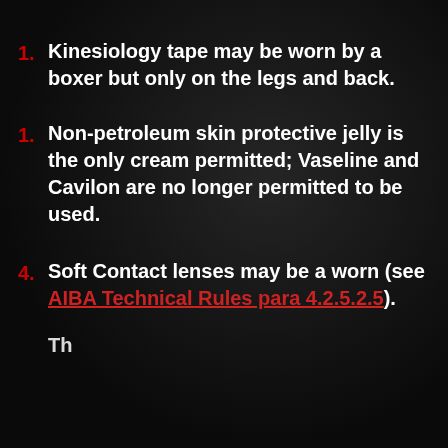1. Kinesiology tape may be worn by a boxer but only on the legs and back.
1. Non-petroleum skin protective jelly is the only cream permitted; Vaseline and Cavilon are no longer permitted to be used.
4. Soft Contact lenses may be a worn (see AIBA Technical Rules para 4.2.5.2.5).
(partial item visible at bottom)